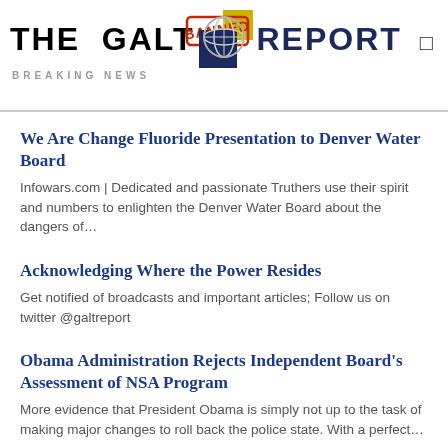THE GALT REPORT — BREAKING NEWS
We Are Change Fluoride Presentation to Denver Water Board
Infowars.com | Dedicated and passionate Truthers use their spirit and numbers to enlighten the Denver Water Board about the dangers of…
Acknowledging Where the Power Resides
Get notified of broadcasts and important articles; Follow us on twitter @galtreport
Obama Administration Rejects Independent Board's Assessment of NSA Program
More evidence that President Obama is simply not up to the task of making major changes to roll back the police state. With a perfect…
Psywar